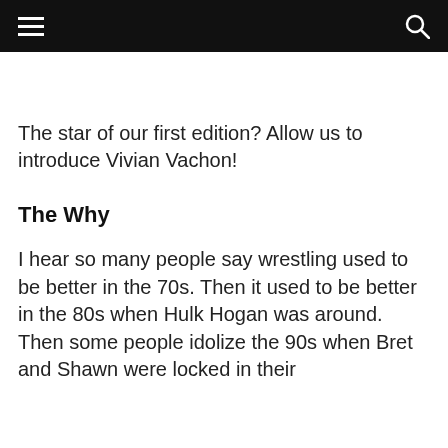≡  🔍
The star of our first edition? Allow us to introduce Vivian Vachon!
The Why
I hear so many people say wrestling used to be better in the 70s. Then it used to be better in the 80s when Hulk Hogan was around. Then some people idolize the 90s when Bret and Shawn were locked in their